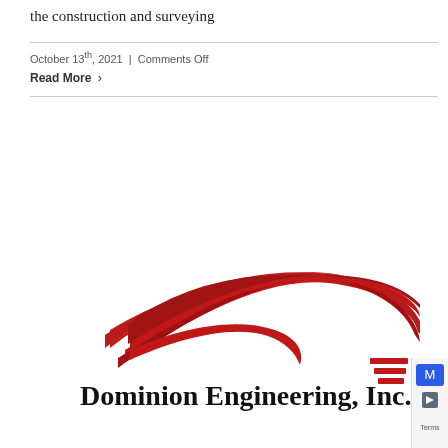the construction and surveying
October 13th, 2021 | Comments Off
Read More >
[Figure (logo): Dominion Engineering, Inc. logo with red swoosh/boomerang design above the company name text]